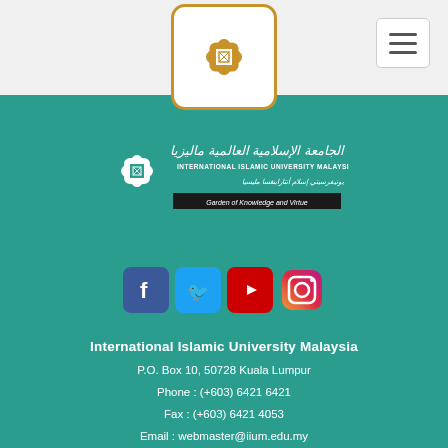[Figure (logo): IIUM flower logo in white box with gold border in header]
[Figure (logo): Hamburger/menu button top right]
[Figure (logo): International Islamic University Malaysia full logo with Arabic text and tagline 'Garden of Knowledge and Virtue']
[Figure (infographic): Social media icons: Facebook (blue), Twitter (light blue), YouTube (red), Instagram (gradient)]
International Islamic University Malaysia
P.O. Box 10, 50728 Kuala Lumpur
Phone : (+603) 6421 6421
Fax : (+603) 6421 4053
Email : webmaster@iium.edu.my